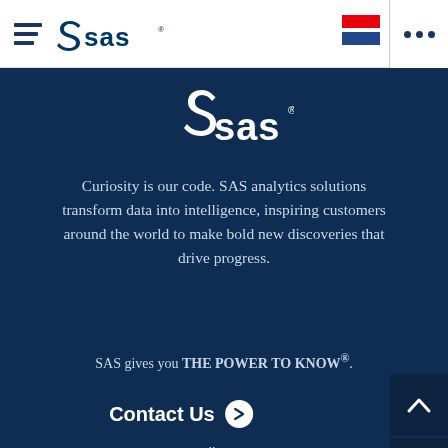[Figure (logo): SAS logo in top navigation bar, white background]
[Figure (logo): SAS logo (large, white) centered on dark blue background]
Curiosity is our code. SAS analytics solutions transform data into intelligence, inspiring customers around the world to make bold new discoveries that drive progress.
SAS gives you THE POWER TO KNOW®.
Contact Us
Follow Us